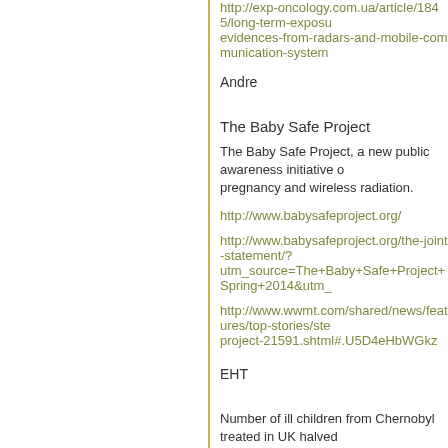http://exp-oncology.com.ua/article/1845/long-term-exposu evidences-from-radars-and-mobile-communication-system
Andre
The Baby Safe Project
The Baby Safe Project, a new public awareness initiative on pregnancy and wireless radiation.
http://www.babysafeproject.org/
http://www.babysafeproject.org/the-joint-statement/?utm_source=The+Baby+Safe+Project+Spring+2014&utm_
http://www.wwmt.com/shared/news/features/top-stories/ste project-21591.shtml#.U5D4eHbWGkz
EHT
Number of ill children from Chernobyl treated in UK halved
The people of Ukraine (Kiev pictured) and Belarus are still disaster which left thousands of children disabled or ill for
http://www.dailymail.co.uk/news/article-2645069/Number-i